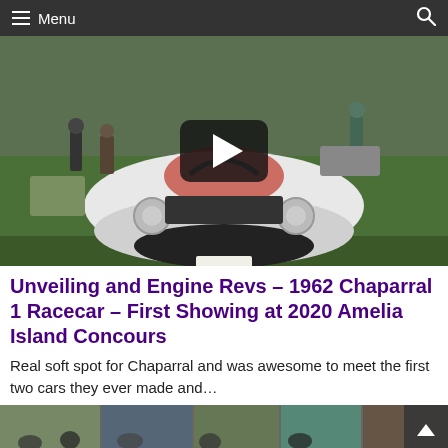Menu
[Figure (photo): A white 1962 Chaparral 1 racecar photographed from the front at an outdoor car show on grass, with a YouTube-style play button overlay in the center. People and other cars visible in background.]
Unveiling and Engine Revs – 1962 Chaparral 1 Racecar – First Showing at 2020 Amelia Island Concours
Real soft spot for Chaparral and was awesome to meet the first two cars they ever made and…
[Figure (photo): Partial thumbnail strip of crowd at car show event.]
f  🐦  🏠  P  ◉  +